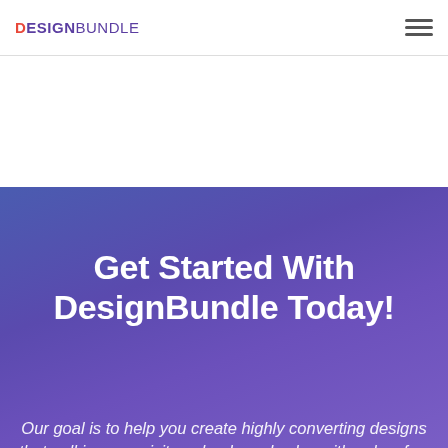DESIGNBUNDLE
Get Started With DesignBundle Today!
Our goal is to help you create highly converting designs that pull in more visitors, leads and sales with only a few clicks and